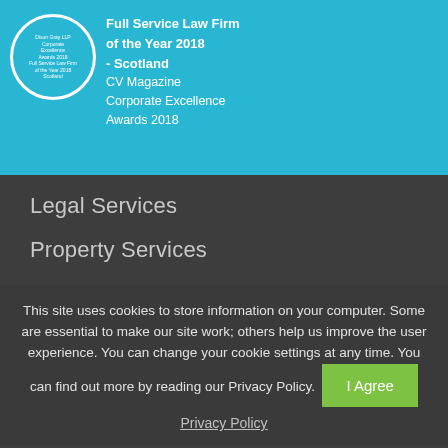[Figure (logo): Circular badge award logo with text 'Dixon Gray LLP Corporate Excellence Awards 2018 Full Service Law Firm of the Year 2018 Scotland' alongside award text]
Full Service Law Firm of the Year 2018 - Scotland CV Magazine Corporate Excellence Awards 2018
Legal Services
Property Services
Financial Services
Contact Us
This site uses cookies to store information on your computer. Some are essential to make our site work; others help us improve the user experience. You can change your cookie settings at any time. You can find out more by reading our Privacy Policy.
I Agree
Privacy Policy